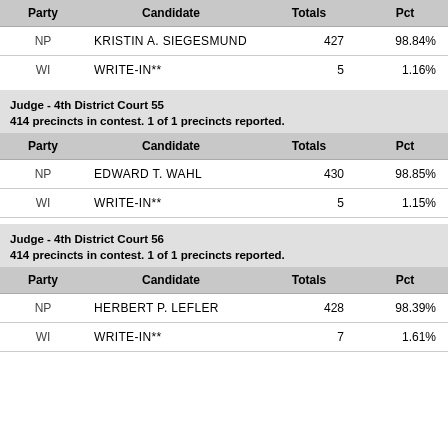| Party | Candidate | Totals | Pct |
| --- | --- | --- | --- |
| NP | KRISTIN A. SIEGESMUND | 427 | 98.84% |
| WI | WRITE-IN** | 5 | 1.16% |
Judge - 4th District Court 55
414 precincts in contest. 1 of 1 precincts reported.
| Party | Candidate | Totals | Pct |
| --- | --- | --- | --- |
| NP | EDWARD T. WAHL | 430 | 98.85% |
| WI | WRITE-IN** | 5 | 1.15% |
Judge - 4th District Court 56
414 precincts in contest. 1 of 1 precincts reported.
| Party | Candidate | Totals | Pct |
| --- | --- | --- | --- |
| NP | HERBERT P. LEFLER | 428 | 98.39% |
| WI | WRITE-IN** | 7 | 1.61% |